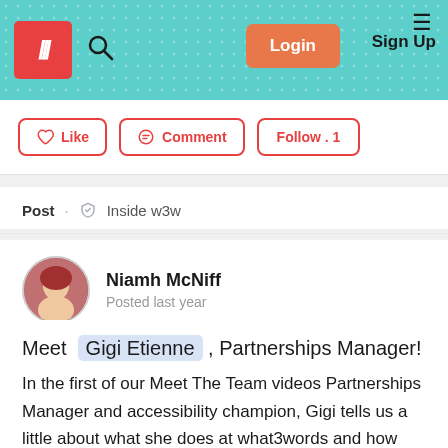what3words navigation bar with logo, search, Login and Sign Up
Like  Comment  Follow · 1
Post · Inside w3w
Niamh McNiff
Posted last year
Meet Gigi Etienne , Partnerships Manager!
In the first of our Meet The Team videos Partnerships Manager and accessibility champion, Gigi tells us a little about what she does at what3words and how our tech is being used by venues, softwares and people across the